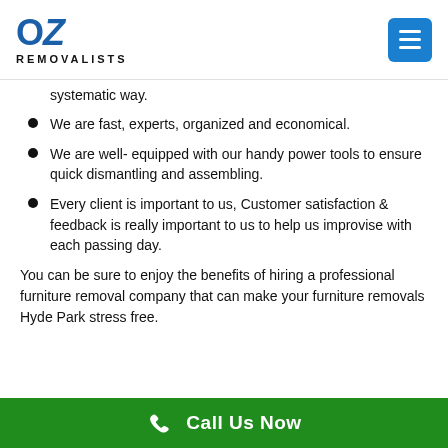OZ REMOVALISTS
systematic way.
We are fast, experts, organized and economical.
We are well- equipped with our handy power tools to ensure quick dismantling and assembling.
Every client is important to us, Customer satisfaction & feedback is really important to us to help us improvise with each passing day.
You can be sure to enjoy the benefits of hiring a professional furniture removal company that can make your furniture removals Hyde Park stress free.
Call Us Now